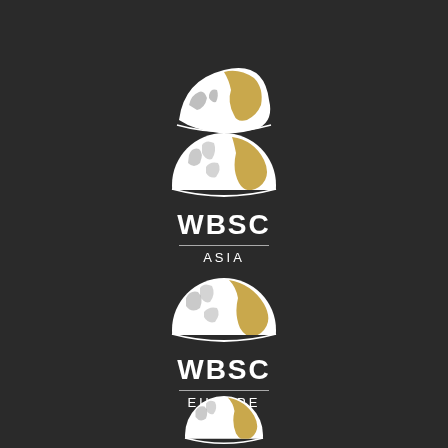[Figure (logo): WBSC Asia logo: globe icon in white and gold over dark background with text WBSC and ASIA]
[Figure (logo): WBSC Europe logo: globe icon in white and gold over dark background with text WBSC and EUROPE]
[Figure (logo): WBSC third logo partially visible at bottom of page: globe icon in white and gold]